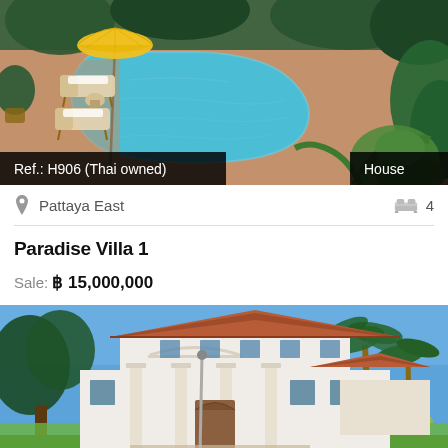[Figure (photo): Aerial view of a tropical swimming pool with a yellow umbrella, lounge chairs, and surrounding lush greenery. Overlaid badges show 'Ref.: H906 (Thai owned)' on the bottom left and 'House' on the bottom right.]
Pattaya East   4
Paradise Villa 1
Sale: ฿ 15,000,000
[Figure (photo): Exterior photo of a large two-story tropical villa with white columns, terracotta roof tiles, surrounded by palm trees and tropical plants under blue sky.]